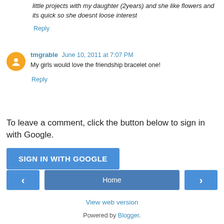little projects with my daughter (2years) and she like flowers and its quick so she doesnt loose interest
Reply
tmgrable June 10, 2011 at 7:07 PM
My girls would love the friendship bracelet one!
Reply
To leave a comment, click the button below to sign in with Google.
SIGN IN WITH GOOGLE
Home
View web version
Powered by Blogger.